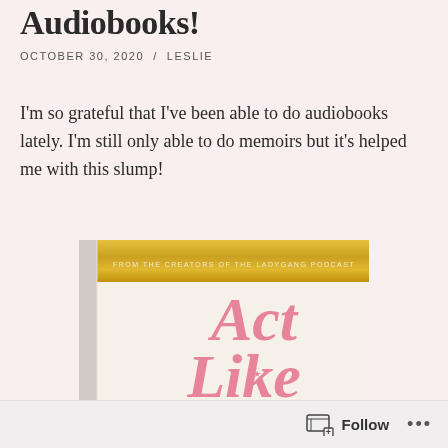Audiobooks!
OCTOBER 30, 2020  /  LESLIE
I'm so grateful that I've been able to do audiobooks lately. I'm still only able to do memoirs but it's helped me with this slump!
[Figure (photo): Book cover showing 'Act Like A' with decorative pink lettering on a cream background, with a gold banner at the top reading 'FROM THE CREATORS OF THE LADYGANG PODCAST']
Follow